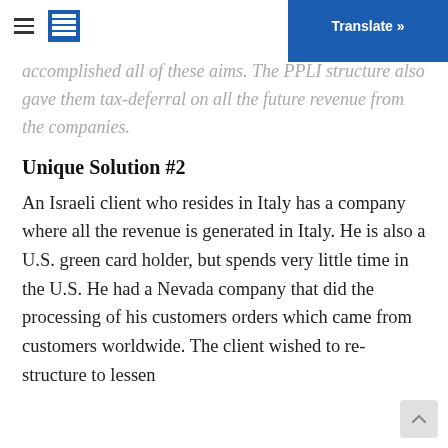Translate »
accomplished all of these aims. The PPLI structure also gave them tax-deferral on all the future revenue from the companies.
Unique Solution #2
An Israeli client who resides in Italy has a company where all the revenue is generated in Italy. He is also a U.S. green card holder, but spends very little time in the U.S. He had a Nevada company that did the processing of his customers orders which came from customers worldwide. The client wished to re-structure to lessen